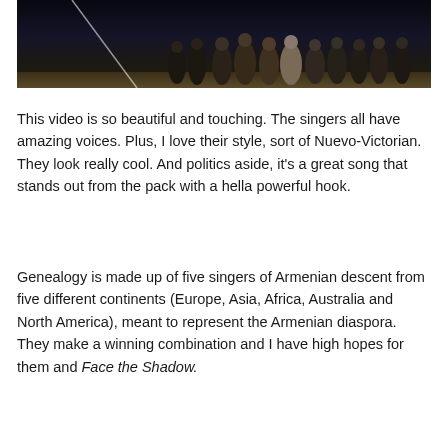[Figure (photo): A dark-toned photograph showing a group of singers on stage dressed in Victorian-style clothing, standing in a row. The image is partially cropped at the top of the page.]
This video is so beautiful and touching. The singers all have amazing voices. Plus, I love their style, sort of Nuevo-Victorian. They look really cool. And politics aside, it's a great song that stands out from the pack with a hella powerful hook.
Genealogy is made up of five singers of Armenian descent from five different continents (Europe, Asia, Africa, Australia and North America), meant to represent the Armenian diaspora. They make a winning combination and I have high hopes for them and Face the Shadow.